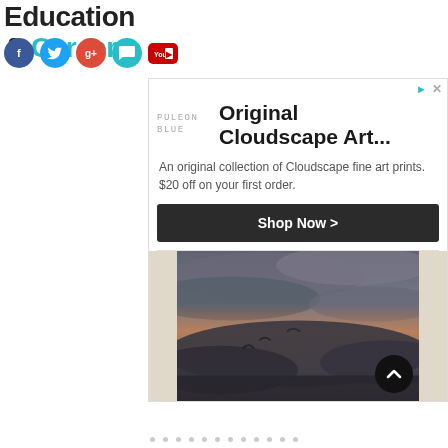Education & Career
[Figure (other): Social media icons: Facebook (blue circle), Twitter (cyan circle), Google Plus (red circle), Chat bubble (cyan), YouTube (red rounded rectangle)]
[Figure (other): Advertisement for Puleon Blue: Original Cloudscape Art... An original collection of Cloudscape fine art prints. $20 off on your first order. Shop Now button. Below is a framed cloudscape photograph showing dark dramatic clouds with orange hues.]